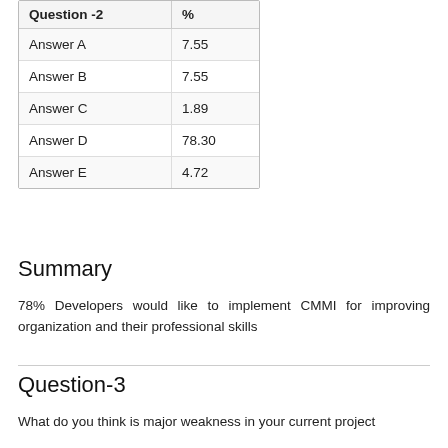| Question -2 | % |
| --- | --- |
| Answer A | 7.55 |
| Answer B | 7.55 |
| Answer C | 1.89 |
| Answer D | 78.30 |
| Answer E | 4.72 |
Summary
78% Developers would like to implement CMMI for improving organization and their professional skills
Question-3
What do you think is major weakness in your current project